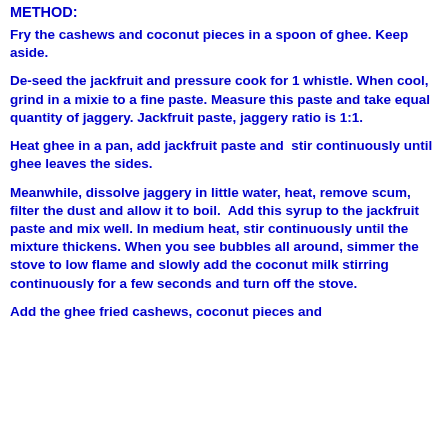METHOD:
Fry the cashews and coconut pieces in a spoon of ghee. Keep aside.
De-seed the jackfruit and pressure cook for 1 whistle. When cool, grind in a mixie to a fine paste. Measure this paste and take equal quantity of jaggery. Jackfruit paste, jaggery ratio is 1:1.
Heat ghee in a pan, add jackfruit paste and  stir continuously until ghee leaves the sides.
Meanwhile, dissolve jaggery in little water, heat, remove scum, filter the dust and allow it to boil.  Add this syrup to the jackfruit paste and mix well. In medium heat, stir continuously until the mixture thickens. When you see bubbles all around, simmer the stove to low flame and slowly add the coconut milk stirring continuously for a few seconds and turn off the stove.
Add the ghee fried cashews, coconut pieces and